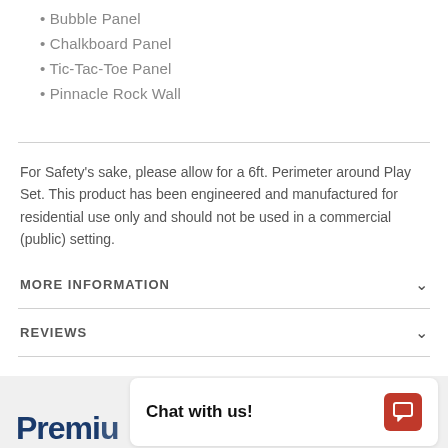• Bubble Panel
• Chalkboard Panel
• Tic-Tac-Toe Panel
• Pinnacle Rock Wall
For Safety's sake, please allow for a 6ft. Perimeter around Play Set. This product has been engineered and manufactured for residential use only and should not be used in a commercial (public) setting.
MORE INFORMATION
REVIEWS
Chat with us!